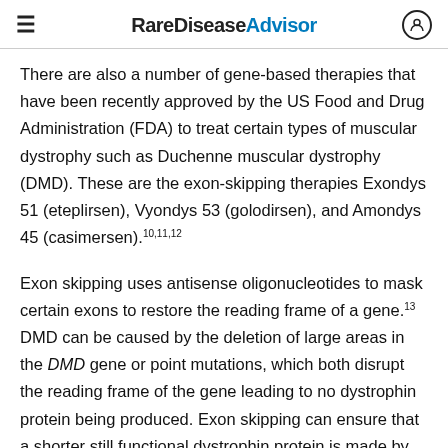Rare Disease Advisor
There are also a number of gene-based therapies that have been recently approved by the US Food and Drug Administration (FDA) to treat certain types of muscular dystrophy such as Duchenne muscular dystrophy (DMD). These are the exon-skipping therapies Exondys 51 (eteplirsen), Vyondys 53 (golodirsen), and Amondys 45 (casimersen).10,11,12
Exon skipping uses antisense oligonucleotides to mask certain exons to restore the reading frame of a gene.13 DMD can be caused by the deletion of large areas in the DMD gene or point mutations, which both disrupt the reading frame of the gene leading to no dystrophin protein being produced. Exon skipping can ensure that a shorter still functional dystrophin protein is made by cells.